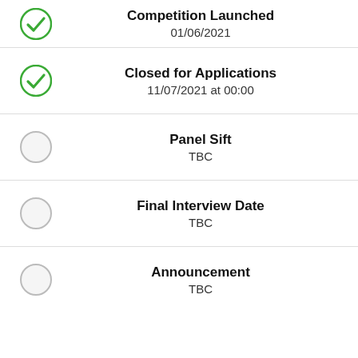Competition Launched 01/06/2021
Closed for Applications 11/07/2021 at 00:00
Panel Sift TBC
Final Interview Date TBC
Announcement TBC